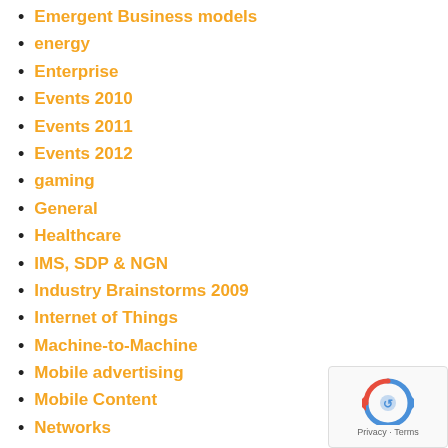Emergent Business models
energy
Enterprise
Events 2010
Events 2011
Events 2012
gaming
General
Healthcare
IMS, SDP & NGN
Industry Brainstorms 2009
Internet of Things
Machine-to-Machine
Mobile advertising
Mobile Content
Networks
News!
Online Video Distribution